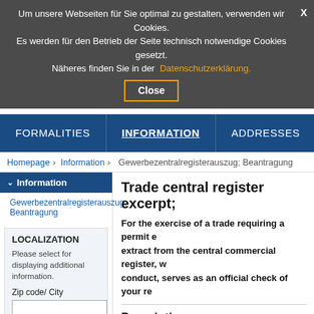Um unsere Webseiten für Sie optimal zu gestalten, verwenden wir Cookies. Es werden für den Betrieb der Seite technisch notwendige Cookies gesetzt. Näheres finden Sie in der Datenschutzerklärung.
Close
FORMALITIES | INFORMATION | ADDRESSES | SECURE C
Homepage > Information > Gewerbezentralregisterauszug; Beantragung
Information
Gewerbezentralregisterauszug; Beantragung
LOCALIZATION
Please select for displaying additional information.
Zip code/ City
Trade central register excerpt;
For the exercise of a trade requiring a permit extract from the central commercial register, w conduct, serves as an official check of your re
Description
The central commercial register is kept at the Fe are entered there:
Administrative decisions on grounds of un withdrawal or revocation of admission to a
waivers during a withdrawal or revocation
Final decisions imposing a fine for a misd his representative or agent in the course if the fine exceeds 200 euros.
Final criminal court convictions for certain
Enforcement Transfer Ar